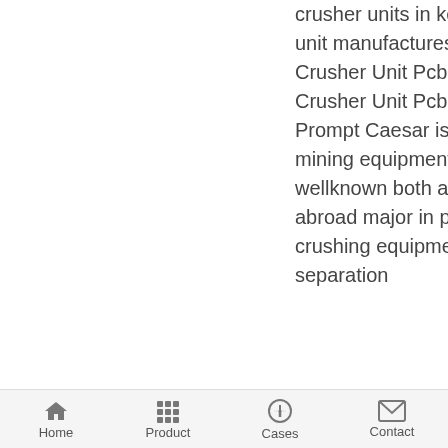crusher units in kerala crusher unit manufactures in kerala pdf Crusher Unit Pcb Rule In Kerala Crusher Unit Pcb Rule In Kerala Prompt Caesar is a famous mining equipment manufacturer wellknown both at home and abroad major in producing stone crushing equipment mineral separation
[Figure (other): Chat Now widget button in red with speech bubble icon and close button]
Home   Product   Cases   Contact